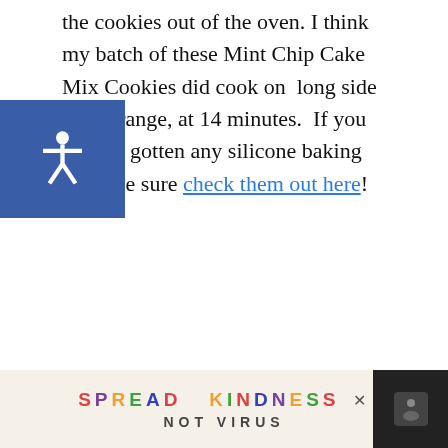the cookies out of the oven. I think my batch of these Mint Chip Cake Mix Cookies did cook on long side of the range, at 14 minutes.  If you haven't gotten any silicone baking mats, be sure check them out here!
Hope you enjoy these as much as we did if you get a chance to make them! They are a hit!
Want to keep this recipe in your favorites? Feel free to pin it on Pinterest! JOIN OUR GROUP!
[Figure (other): Ad banner: SPREAD KINDNESS NOT VIRUS in colorful letters on a beige background, with a dark box on the right showing a cookie image]